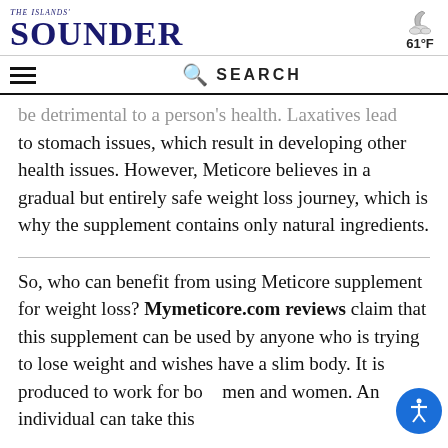The Islands' Sounder | 61°F
be detrimental to a person's health. Laxatives lead to stomach issues, which result in developing other health issues. However, Meticore believes in a gradual but entirely safe weight loss journey, which is why the supplement contains only natural ingredients.
So, who can benefit from using Meticore supplement for weight loss? Mymeticore.com reviews claim that this supplement can be used by anyone who is trying to lose weight and wishes have a slim body. It is produced to work for both men and women. An individual can take this